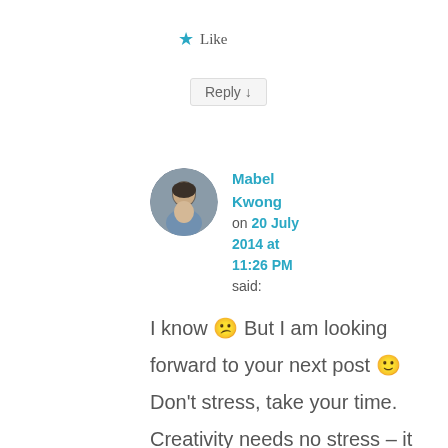★ Like
Reply ↓
Mabel Kwong on 20 July 2014 at 11:26 PM said:
I know 😕 But I am looking forward to your next post 🙂 Don't stress, take your time. Creativity needs no stress – it just needs time.